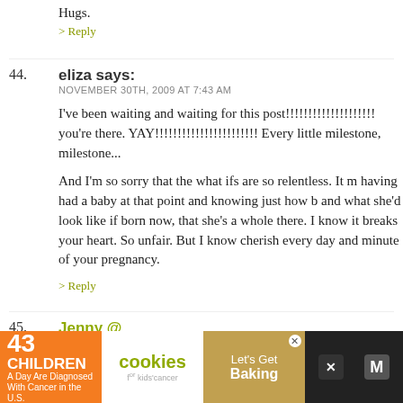Hugs.
> Reply
44. eliza says:
NOVEMBER 30TH, 2009 AT 7:43 AM

I've been waiting and waiting for this post!!!!!!!!!!!!!!!!!!!! you're there. YAY!!!!!!!!!!!!!!!!!!!!!!! Every little milestone, milestone...

And I'm so sorry that the what ifs are so relentless. It m having had a baby at that point and knowing just how b and what she'd look like if born now, that she's a whole there. I know it breaks your heart. So unfair. But I know cherish every day and minute of your pregnancy.

> Reply
45. Jenny @ http://motherlawyercrazywoman.blogspot.c
NOVEMBER 30TH, 2009 AT 7:45 AM

Those what ifs are so painful. I am sorry. But I am glad B
[Figure (screenshot): Advertisement banner: '43 CHILDREN A Day Are Diagnosed With Cancer in the U.S.' with cookies for kids cancer and Let's Get Baking branding]